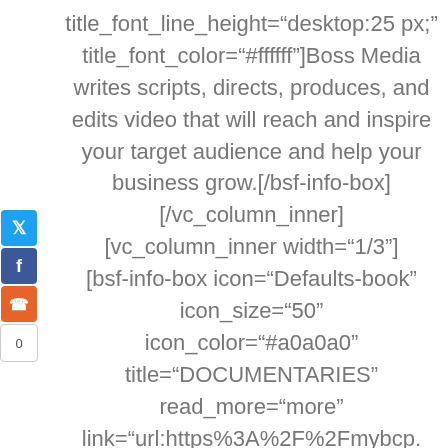title_font_line_height="desktop:25 px;" title_font_color="#ffffff"]Boss Media writes scripts, directs, produces, and edits video that will reach and inspire your target audience and help your business grow.[/bsf-info-box] [/vc_column_inner] [vc_column_inner width="1/3"] [bsf-info-box icon="Defaults-book" icon_size="50" icon_color="#a0a0a0" title="DOCUMENTARIES" read_more="more" link="url:https%3A%2F%2Fmybcp.com%2Fcontact%2F|||" read_text="Learn More" pos="top"